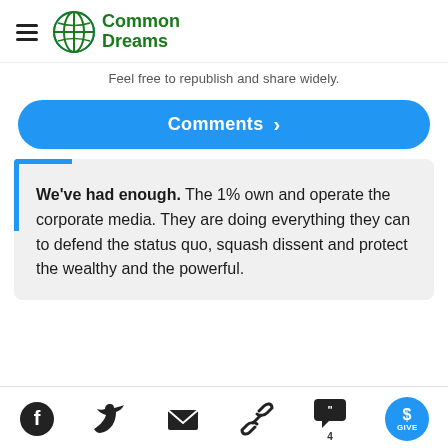Common Dreams
Feel free to republish and share widely.
Comments >
We've had enough. The 1% own and operate the corporate media. They are doing everything they can to defend the status quo, squash dissent and protect the wealthy and the powerful.
Social share icons: Facebook, Twitter, Email, Link, Comments (4), Give